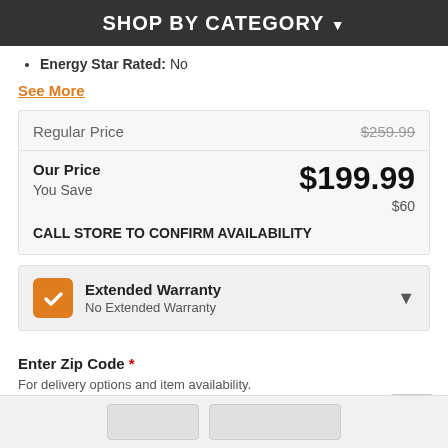SHOP BY CATEGORY
Energy Star Rated: No
See More
|  |  |
| --- | --- |
| Regular Price | $259.99 |
| Our Price / You Save | $199.99 / $60 |
| CALL STORE TO CONFIRM AVAILABILITY |  |
Extended Warranty
No Extended Warranty
Enter Zip Code *
For delivery options and item availability.